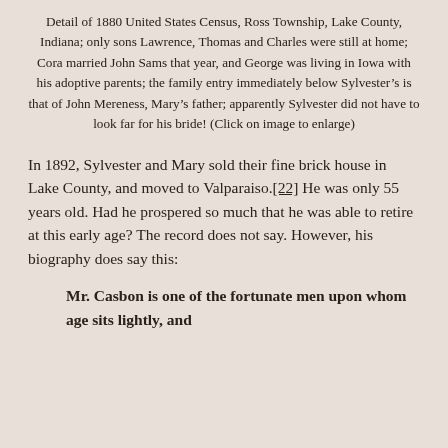Detail of 1880 United States Census, Ross Township, Lake County, Indiana; only sons Lawrence, Thomas and Charles were still at home; Cora married John Sams that year, and George was living in Iowa with his adoptive parents; the family entry immediately below Sylvester's is that of John Mereness, Mary's father; apparently Sylvester did not have to look far for his bride! (Click on image to enlarge)
In 1892, Sylvester and Mary sold their fine brick house in Lake County, and moved to Valparaiso.[22] He was only 55 years old. Had he prospered so much that he was able to retire at this early age? The record does not say. However, his biography does say this:
Mr. Casbon is one of the fortunate men upon whom age sits lightly, and